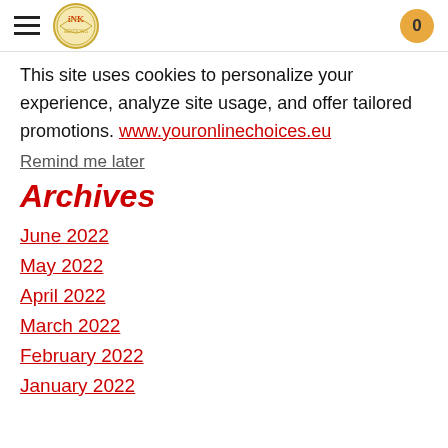INK logo and navigation header with cart badge showing 0
This site uses cookies to personalize your experience, analyze site usage, and offer tailored promotions. www.youronlinechoices.eu
Remind me later
Archives
June 2022
May 2022
April 2022
March 2022
February 2022
January 2022